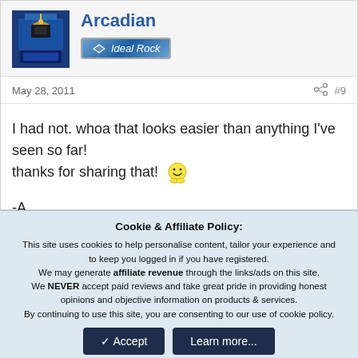[Figure (photo): User avatar image - dark blue background with yellow lamp/arcade machine symbol]
Arcadian
[Figure (logo): Ideal Rock badge/banner - blue gradient background with diamond icon and italic text 'Ideal Rock']
May 28, 2011
#9
I had not. whoa that looks easier than anything I've seen so far!
thanks for sharing that! 😊

-A
Cookie & Affiliate Policy:
This site uses cookies to help personalise content, tailor your experience and to keep you logged in if you have registered.
We may generate affiliate revenue through the links/ads on this site.
We NEVER accept paid reviews and take great pride in providing honest opinions and objective information on products & services.
By continuing to use this site, you are consenting to our use of cookie policy.
✓ Accept
Learn more...